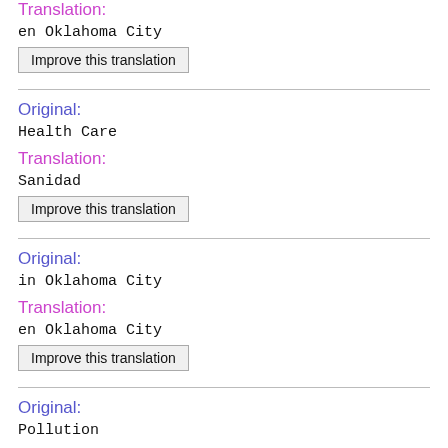Translation:
en Oklahoma City
Improve this translation
Original:
Health Care
Translation:
Sanidad
Improve this translation
Original:
in Oklahoma City
Translation:
en Oklahoma City
Improve this translation
Original:
Pollution
Translation:
Contaminación
Improve this translation
Original: